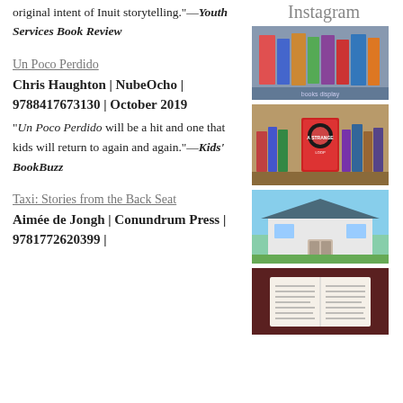original intent of Inuit storytelling."—Youth Services Book Review
Un Poco Perdido
Chris Haughton | NubeOcho | 9788417673130 | October 2019
"Un Poco Perdido will be a hit and one that kids will return to again and again."—Kids' BookBuzz
Taxi: Stories from the Back Seat
Aimée de Jongh | Conundrum Press | 9781772620399 |
Instagram
[Figure (photo): Photo of books displayed on a table, including colorful covers]
[Figure (photo): Photo of A Strange Loop book on a wooden shelf with other books]
[Figure (photo): Photo of a small house/bookstore exterior with blue roof and pathway]
[Figure (photo): Photo of an open book or manuscript pages on a dark background]